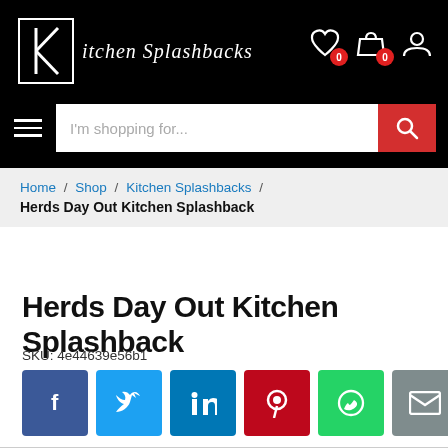Kitchen Splashbacks — site header with logo, search bar, and icons
Home / Shop / Kitchen Splashbacks / Herds Day Out Kitchen Splashback
Herds Day Out Kitchen Splashback
SKU: 4e44639e56b1
[Figure (other): Social sharing buttons: Facebook, Twitter, LinkedIn, Pinterest, WhatsApp, Email]